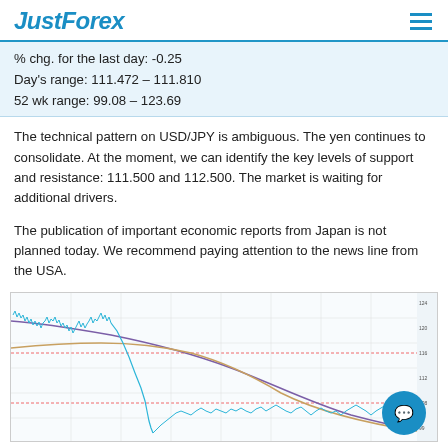JustForex
% chg. for the last day: -0.25
Day's range: 111.472 – 111.810
52 wk range: 99.08 – 123.69
The technical pattern on USD/JPY is ambiguous. The yen continues to consolidate. At the moment, we can identify the key levels of support and resistance: 111.500 and 112.500. The market is waiting for additional drivers.
The publication of important economic reports from Japan is not planned today. We recommend paying attention to the news line from the USA.
[Figure (continuous-plot): USD/JPY candlestick/line chart showing price movement over time with moving average curves (one purple, one orange/beige). Price dropped significantly in the middle of the chart then partially recovered. Red horizontal support lines visible. Y-axis shows price levels around 99-124 range.]